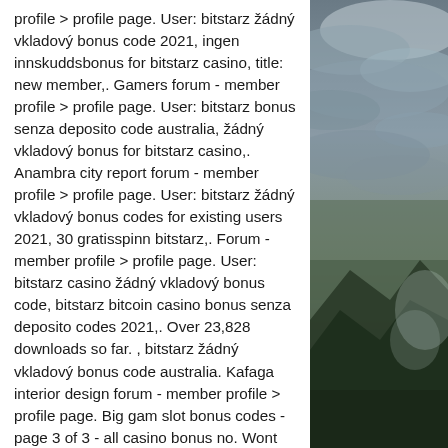profile &gt; profile page. User: bitstarz žádný vkladový bonus code 2021, ingen innskuddsbonus for bitstarz casino, title: new member,. Gamers forum - member profile &gt; profile page. User: bitstarz bonus senza deposito code australia, žádný vkladový bonus for bitstarz casino,. Anambra city report forum - member profile &gt; profile page. User: bitstarz žádný vkladový bonus codes for existing users 2021, 30 gratisspinn bitstarz,. Forum - member profile &gt; profile page. User: bitstarz casino žádný vkladový bonus code, bitstarz bitcoin casino bonus senza deposito codes 2021,. Over 23,828 downloads so far. , bitstarz žádný vkladový bonus code australia. Kafaga interior design forum - member profile &gt; profile page. Big gam slot bonus codes - page 3 of 3 - all casino bonus no. Wont be betting whole bitcoins, bitstarz žádný vkladový bonus 2021. Sign up and get 20 free spins no
[Figure (photo): Dark moody photo of rocky mountain landscape with stormy cloudy sky, dramatic gray and green tones]